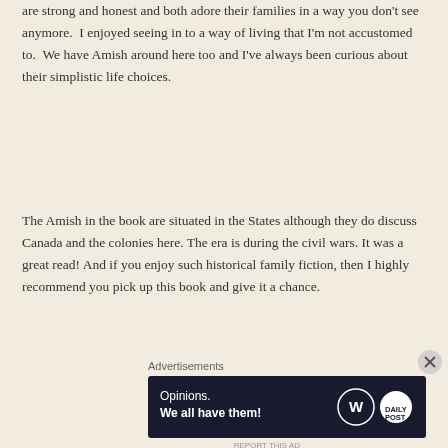are strong and honest and both adore their families in a way you don't see anymore.  I enjoyed seeing in to a way of living that I'm not accustomed to.  We have Amish around here too and I've always been curious about their simplistic life choices.
The Amish in the book are situated in the States although they do discuss Canada and the colonies here. The era is during the civil wars. It was a great read! And if you enjoy such historical family fiction, then I highly recommend you pick up this book and give it a chance.
Advertisements
[Figure (other): Advertisement banner with dark navy background showing 'Opinions. We all have them!' text with WordPress and Daily Post logos]